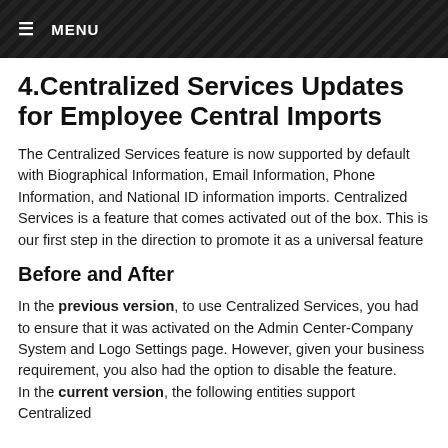MENU
4.Centralized Services Updates for Employee Central Imports
The Centralized Services feature is now supported by default with Biographical Information, Email Information, Phone Information, and National ID information imports. Centralized Services is a feature that comes activated out of the box. This is our first step in the direction to promote it as a universal feature
Before and After
In the previous version, to use Centralized Services, you had to ensure that it was activated on the Admin Center-Company System and Logo Settings page. However, given your business requirement, you also had the option to disable the feature. In the current version, the following entities support Centralized